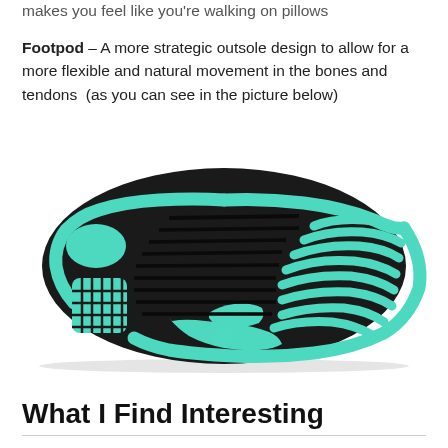makes you feel like you're walking on pillows
Footpod – A more strategic outsole design to allow for a more flexible and natural movement in the bones and tendons  (as you can see in the picture below)
[Figure (photo): Bottom view of a running shoe sole showing a black outsole with teal/turquoise Footpod design pattern, featuring flex grooves and pod sections for natural foot movement.]
What I Find Interesting